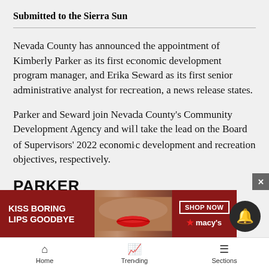Submitted to the Sierra Sun
Nevada County has announced the appointment of Kimberly Parker as its first economic development program manager, and Erika Seward as its first senior administrative analyst for recreation, a news release states.
Parker and Seward join Nevada County's Community Development Agency and will take the lead on the Board of Supervisors' 2022 economic development and recreation objectives, respectively.
PARKER
Parker ... the Sie... n,
[Figure (screenshot): Advertisement overlay: Macy's lipstick ad with text 'KISS BORING LIPS GOODBYE' and 'SHOP NOW' button with Macy's star logo, overlaid on article content. Also shows notification bell button (dark circle) and close X button.]
Home   Trending   Sections